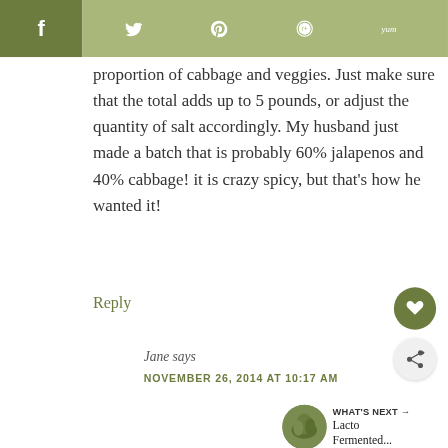[Figure (screenshot): Social media share bar with Facebook (dark olive), Twitter, Pinterest, Reddit, and Yummly icons on olive/green background]
proportion of cabbage and veggies. Just make sure that the total adds up to 5 pounds, or adjust the quantity of salt accordingly. My husband just made a batch that is probably 60% jalapenos and 40% cabbage! it is crazy spicy, but that's how he wanted it!
Reply
Jane says
NOVEMBER 26, 2014 AT 10:17 AM
WHAT'S NEXT → Lacto Fermented...